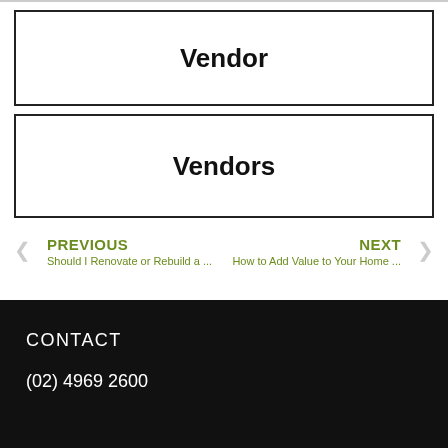Vendor
Vendors
PREVIOUS
Should I Renovate or Rebuild a ...
NEXT
How to Add Value to Your Home ...
CONTACT
(02) 4969 2600